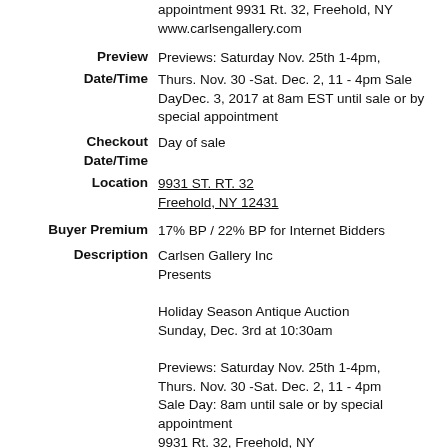appointment 9931 Rt. 32, Freehold, NY www.carlsengallery.com
Preview Date/Time: Previews: Saturday Nov. 25th 1-4pm, Thurs. Nov. 30 -Sat. Dec. 2, 11 - 4pm Sale DayDec. 3, 2017 at 8am EST until sale or by special appointment
Checkout Date/Time: Day of sale
Location: 9931 ST. RT. 32 Freehold, NY 12431
Buyer Premium: 17% BP / 22% BP for Internet Bidders
Description: Carlsen Gallery Inc Presents Holiday Season Antique Auction Sunday, Dec. 3rd at 10:30am Previews: Saturday Nov. 25th 1-4pm, Thurs. Nov. 30 -Sat. Dec. 2, 11 - 4pm Sale Day: 8am until sale or by special appointment 9931 Rt. 32, Freehold, NY www.carlsengallery.com